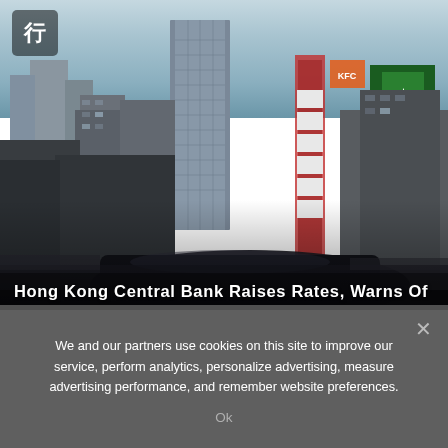[Figure (photo): Photograph of Hong Kong Central business district skyline at dusk, showing high-rise office buildings and skyscrapers. A blurred vehicle is visible in the foreground. A Chinese character icon (行) appears in the top-left corner overlay.]
Hong Kong Central Bank Raises Rates, Warns Of
We and our partners use cookies on this site to improve our service, perform analytics, personalize advertising, measure advertising performance, and remember website preferences.
Ok